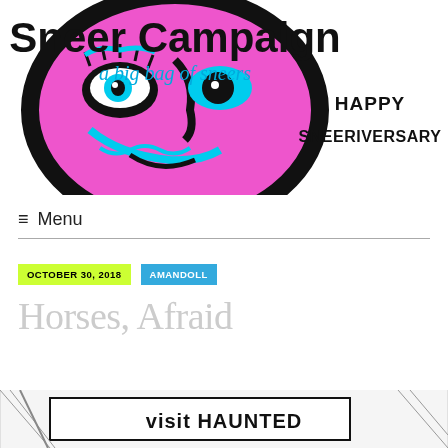[Figure (logo): Sneer Campaign blog header with pop-art style face in pink, black and cyan. Text reads 'Sneer Campaign' in large bold black font, 'a big bag of sneers' in cyan italic, and 'HAPPY SNEERIVERSARY' in hand-drawn black text to the right.]
≡ Menu
OCTOBER 30, 2018   AMANDOLL
Horses, Afraid
[Figure (illustration): Black and white cartoon/comic style image showing text 'Visit HAUNTED' partially visible at the bottom of the page.]